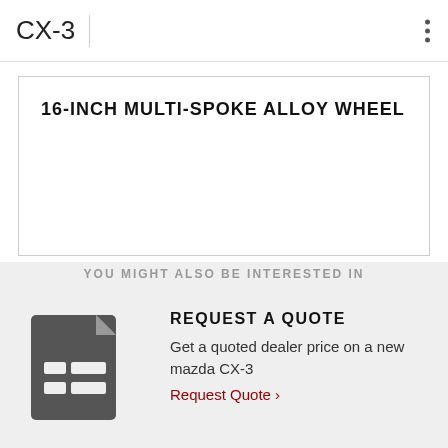CX-3
16-INCH MULTI-SPOKE ALLOY WHEEL
YOU MIGHT ALSO BE INTERESTED IN
REQUEST A QUOTE
Get a quoted dealer price on a new mazda CX-3
Request Quote >